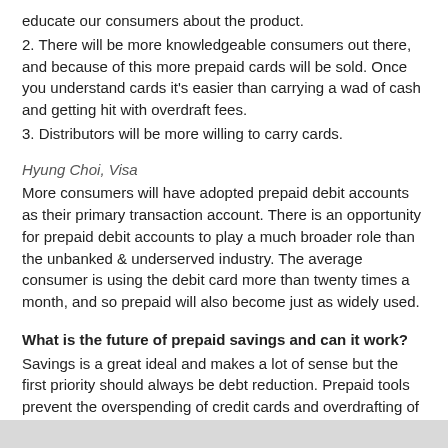educate our consumers about the product.
2. There will be more knowledgeable consumers out there, and because of this more prepaid cards will be sold. Once you understand cards it's easier than carrying a wad of cash and getting hit with overdraft fees.
3. Distributors will be more willing to carry cards.
Hyung Choi, Visa
More consumers will have adopted prepaid debit accounts as their primary transaction account. There is an opportunity for prepaid debit accounts to play a much broader role than the unbanked & underserved industry. The average consumer is using the debit card more than twenty times a month, and so prepaid will also become just as widely used.
What is the future of prepaid savings and can it work?
Savings is a great ideal and makes a lot of sense but the first priority should always be debt reduction. Prepaid tools prevent the overspending of credit cards and overdrafting of bank accounts.